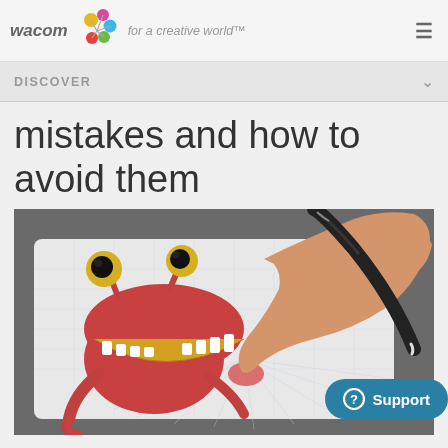wacom – for a creative world™
DISCOVER
mistakes and how to avoid them
[Figure (photo): A hand holding a stylus/pen drawing on a Wacom tablet displaying a cartoon red frog character with large eyes and an open mouth showing teeth. The tablet is shown from an angle on a desk.]
Support